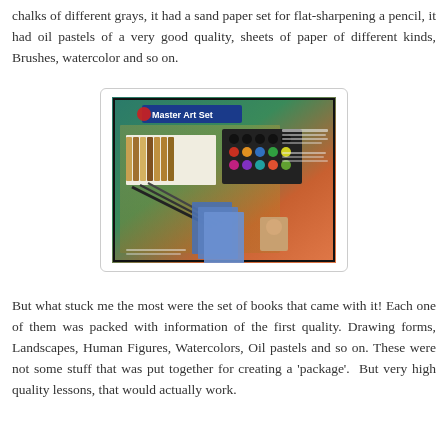chalks of different grays, it had a sand paper set for flat-sharpening a pencil, it had oil pastels of a very good quality, sheets of paper of different kinds, Brushes, watercolor and so on.
[Figure (photo): Product photo of a Master Art Set box showing various art supplies including oil pastels, watercolors, brushes, pencils, and instructional booklets arranged on the packaging.]
But what stuck me the most were the set of books that came with it! Each one of them was packed with information of the first quality. Drawing forms, Landscapes, Human Figures, Watercolors, Oil pastels and so on. These were not some stuff that was put together for creating a 'package'. But very high quality lessons, that would actually work.